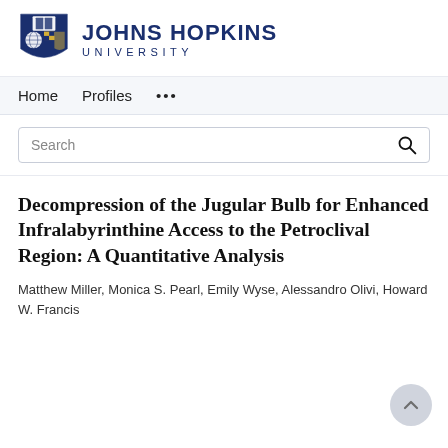[Figure (logo): Johns Hopkins University logo with shield and text]
Home   Profiles   ...
Search
Decompression of the Jugular Bulb for Enhanced Infralabyrinthine Access to the Petroclival Region: A Quantitative Analysis
Matthew Miller, Monica S. Pearl, Emily Wyse, Alessandro Olivi, Howard W. Francis